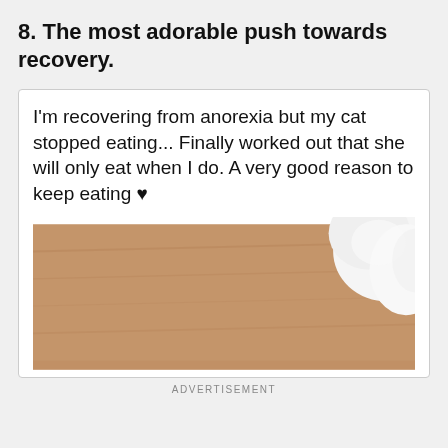8. The most adorable push towards recovery.
I'm recovering from anorexia but my cat stopped eating... Finally worked out that she will only eat when I do. A very good reason to keep eating ♥
[Figure (photo): Close-up photo of a cat's fur and body against a wooden surface, showing brown wooden floor and white cat fur.]
ADVERTISEMENT